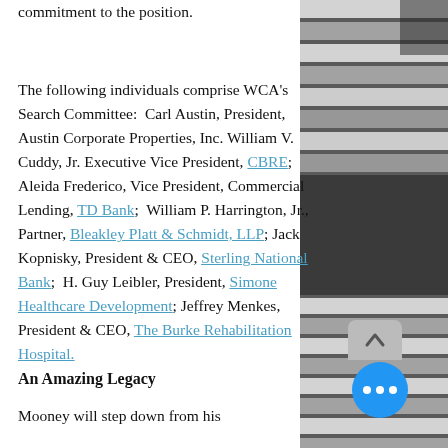commitment to the position.
The following individuals comprise WCA's Search Committee:  Carl Austin, President, Austin Corporate Properties, Inc. William V. Cuddy, Jr. Executive Vice President, CBRE; Aleida Frederico, Vice President, Commercial Lending, TD Bank;  William P. Harrington, Jr., Partner, Bleakley Platt & Schmidt, LLP; Jack Kopnisky, President & CEO, Sterling National Bank;  H. Guy Leibler, President, Simone Healthcare Development; Jeffrey Menkes, President & CEO, The Burke Rehabilitation Hospital.
An Amazing Legacy
Mooney will step down from his
[Figure (photo): Aerial/overhead photo of a street crosswalk with black and white stripes, grayscale tones]